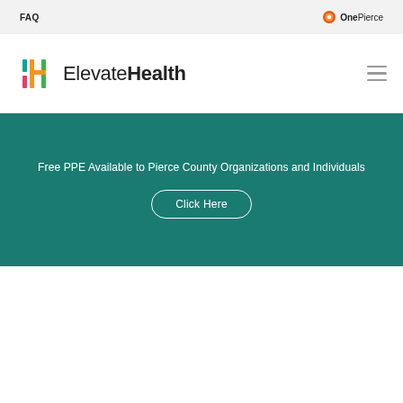FAQ
[Figure (logo): OnePierce logo with orange circle icon and text 'OnePierce']
[Figure (logo): ElevateHealth logo with colorful bracket icon and text 'ElevateHealth']
Free PPE Available to Pierce County Organizations and Individuals
Click Here